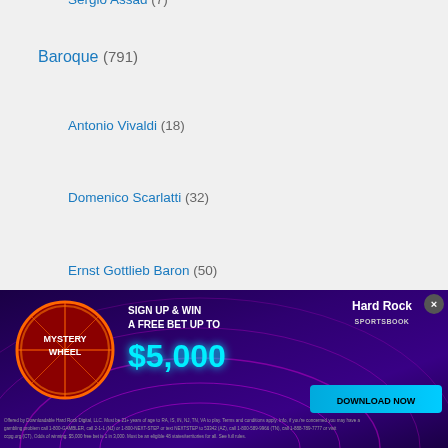Sergio Assad (7)
Baroque (791)
Antonio Vivaldi (18)
Domenico Scarlatti (32)
Ernst Gottlieb Baron (50)
Gaspar Sanz (34)
Georg Philip Telemann (18)
George Friedrich Handel (62)
Henri Purcell (33)
Johann Sebastian Bach (208)
Robert DeVisee (26)
Silvius Leopold Weiss (110)
Bossa/Salsa (336)
[Figure (infographic): Hard Rock Sportsbook advertisement banner: Mystery Wheel - Sign Up & Win A Free Bet Up To $5,000. Hard Rock Sportsbook logo. Download Now button. Fine print disclaimer text.]